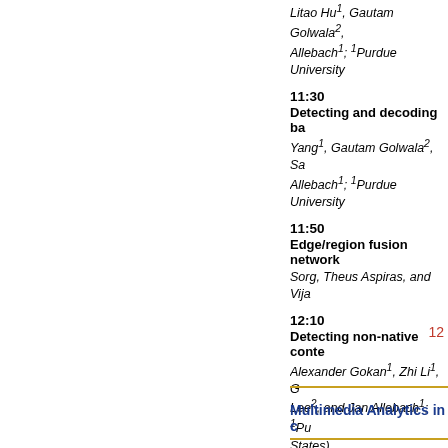Litao Hu1, Gautam Golwala2, Allebach1; 1Purdue University
11:30
Detecting and decoding ba...
Yang1, Gautam Golwala2, Sa... Allebach1; 1Purdue University
11:50
Edge/region fusion network...
Sorg, Theus Aspiras, and Vija...
12:10
Detecting non-native conte...
Alexander Gokan1, Zhi Li1, G... Lee2, and Jan Allebach1; 1Pu... States)
12
Multimedia Analytics in c...